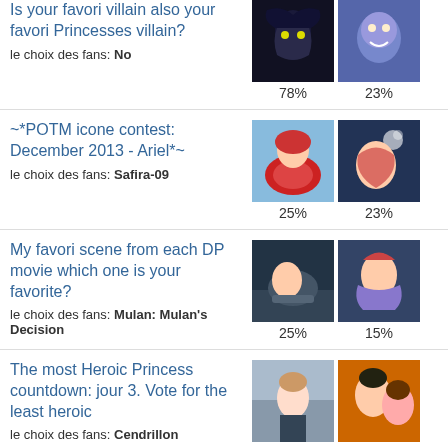Is your favori villain also your favori Princesses villain?
le choix des fans: No
78% / 23%
~*POTM icone contest: December 2013 - Ariel*~
le choix des fans: Safira-09
25% / 23%
My favori scene from each DP movie which one is your favorite?
le choix des fans: Mulan: Mulan's Decision
25% / 15%
The most Heroic Princess countdown: jour 3. Vote for the least heroic
le choix des fans: Cendrillon
50% / 15%
The most Heroic Prince countdown: jour 3. Vote for the least heroic
le choix des fans: Naveen
75% / 13%